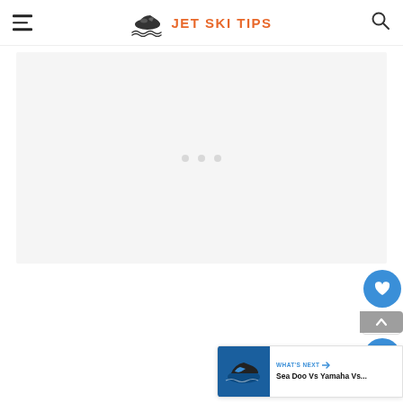JET SKI TIPS
[Figure (other): Advertisement placeholder box with three light gray dots centered]
[Figure (other): Like button (heart icon, blue circle), count of 3, scroll-to-top arrow, share button (blue circle with share icon), and 'WHAT'S NEXT → Sea Doo Vs Yamaha Vs...' card with jet ski thumbnail]